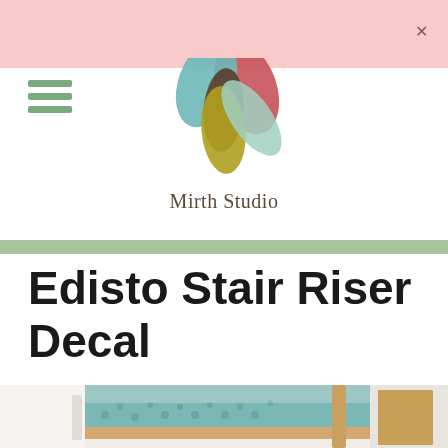[Figure (logo): Mirth Studio logo: colorful leaf/petal arrangement in teal, green, olive, brown, and pink/red, with text 'Mirth Studio' below in serif font]
Edisto Stair Riser Decal
[Figure (photo): Photo of a staircase with teal geometric patterned stair riser decals applied, with light wood treads and white walls, partial view of a door on the right]